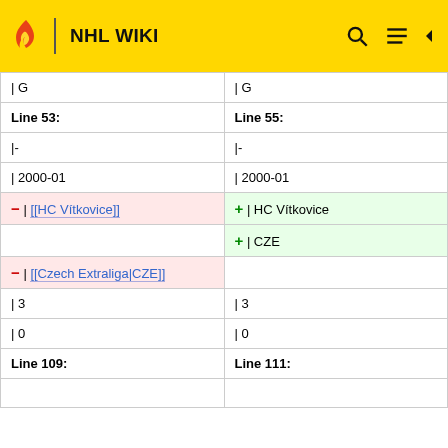NHL WIKI
| Line 53: | Line 55: |
| --- | --- |
| | G | | G |
| Line 53: | Line 55: |
| |- | |- |
| | 2000-01 | | 2000-01 |
| − | [[HC Vítkovice]] | + | HC Vítkovice |
|  | + | CZE |
| − | [[Czech Extraliga|CZE]] |  |
| | 3 | | 3 |
| | 0 | | 0 |
| Line 109: | Line 111: |